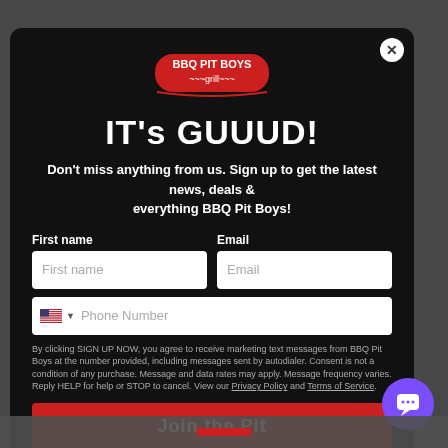[Figure (logo): BBQ Pit Boys logo in red with stylized text and grill graphic]
IT's GUUUD!
Don't miss anything from us. Sign up to get the latest news, deals & everything BBQ Pit Boys!
First name [input field] Email [input field] Phone Number [input field with US flag]
By clicking SIGN UP NOW, you agree to receive marketing text messages from BBQ Pit Boys at the number provided, including messages sent by autodialer. Consent is not a condition of any purchase. Message and data rates may apply. Message frequency varies. Reply HELP for help or STOP to cancel. View our Privacy Policy and Terms of Service.
Join the Pit